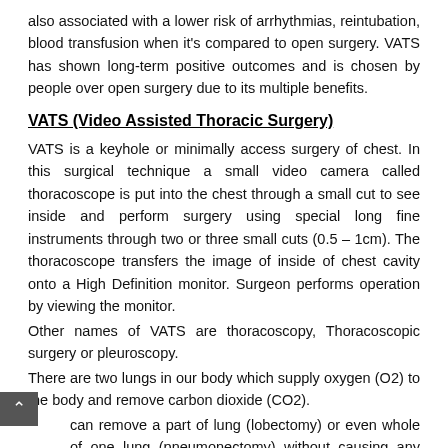also associated with a lower risk of arrhythmias, reintubation, blood transfusion when it's compared to open surgery. VATS has shown long-term positive outcomes and is chosen by people over open surgery due to its multiple benefits.
VATS (Video Assisted Thoracic Surgery)
VATS is a keyhole or minimally access surgery of chest. In this surgical technique a small video camera called thoracoscope is put into the chest through a small cut to see inside and perform surgery using special long fine instruments through two or three small cuts (0.5 – 1cm). The thoracoscope transfers the image of inside of chest cavity onto a High Definition monitor. Surgeon performs operation by viewing the monitor.
Other names of VATS are thoracoscopy, Thoracoscopic surgery or pleuroscopy.
There are two lungs in our body which supply oxygen (O2) to the body and remove carbon dioxide (CO2).
We can remove a part of lung (lobectomy) or even whole of one lung (pneumonectomy) without causing any change in O2 and